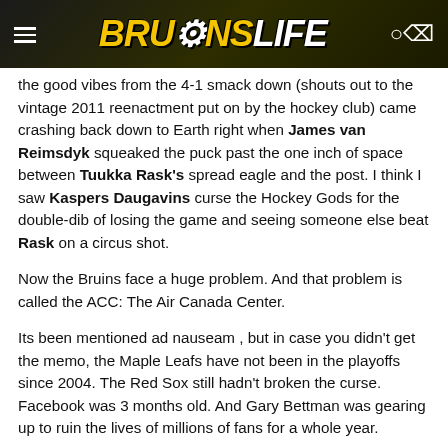BRUINS LIFE
the good vibes from the 4-1 smack down (shouts out to the vintage 2011 reenactment put on by the hockey club) came crashing back down to Earth right when James van Reimsdyk squeaked the puck past the one inch of space between Tuukka Rask's spread eagle and the post. I think I saw Kaspers Daugavins curse the Hockey Gods for the double-dib of losing the game and seeing someone else beat Rask on a circus shot.
Now the Bruins face a huge problem. And that problem is called the ACC: The Air Canada Center.
Its been mentioned ad nauseam , but in case you didn't get the memo, the Maple Leafs have not been in the playoffs since 2004. The Red Sox still hadn't broken the curse. Facebook was 3 months old. And Gary Bettman was gearing up to ruin the lives of millions of fans for a whole year.